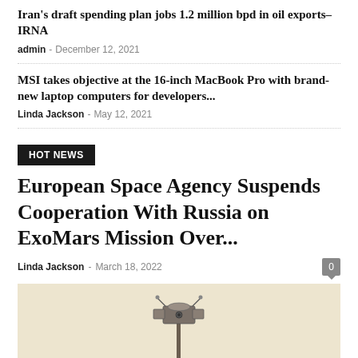Iran's draft spending plan jobs 1.2 million bpd in oil exports– IRNA
admin - December 12, 2021
MSI takes objective at the 16-inch MacBook Pro with brand-new laptop computers for developers...
Linda Jackson - May 12, 2021
HOT NEWS
European Space Agency Suspends Cooperation With Russia on ExoMars Mission Over...
Linda Jackson - March 18, 2022
[Figure (photo): ExoMars rover or space instrument on a pole against a pale beige/cream background sky, centre of image]